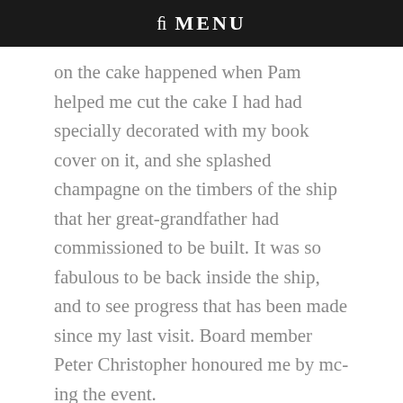fi MENU
on the cake happened when Pam helped me cut the cake I had had specially decorated with my book cover on it, and she splashed champagne on the timbers of the ship that her great-grandfather had commissioned to be built. It was so fabulous to be back inside the ship, and to see progress that has been made since my last visit. Board member Peter Christopher honoured me by mc-ing the event.
•